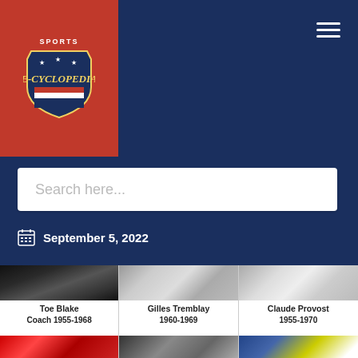[Figure (logo): Sports E-Cyclopedia logo with red background and shield emblem]
Search here...
September 5, 2022
[Figure (photo): Black and white photo of Toe Blake]
Toe Blake
Coach 1955-1968
[Figure (photo): Black and white photo of Gilles Tremblay]
Gilles Tremblay
1960-1969
[Figure (photo): Black and white photo of Claude Provost on ice]
Claude Provost
1955-1970
[Figure (photo): Color photo of hockey player in red jersey]
[Figure (photo): Black and white photo of hockey player]
[Figure (photo): Color photo of hockey player]